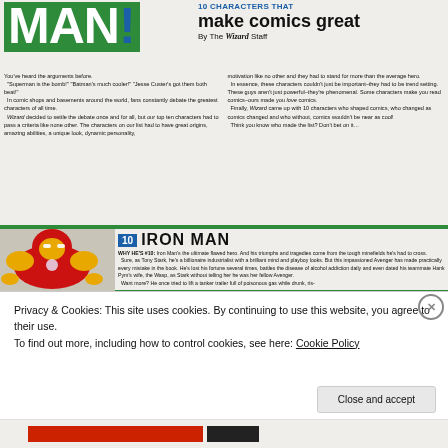10 characters that make comics great By The Wizard Staff
You've heard the arguments before. "Superman is the bomb!" "Batman's much cooler!" "Jesse Custer's got them both beat!" In comic shops and basements around the world, fans constantly debate the greatest characters of all time. Wizard decided to settle the debate once and for all, but our top ten characters had to pass a criteria like none other. The characters on our list had to have great origins, amazing abilities, a unique look, dynamic personality, motivation like no other and they had to stand for more than the average hero. In essence, these characters couldn't just be important–they had to be trend setting. These guys aren't just powerful–they're phenomenal. Some characters make you read comics–ours made you love comics. Finally, Wizard came up with 10 characters who shaped comics, who changed as comics changed and who without, comics wouldn't be near as cool! Think you know who made the list? Don't bet on it…
10 IRON MAN
WHY HE'S #10: Iron Man's the ultimate flawed hero. And his triumphs and tragedies come from the tough minefields he's had to cross. Sure, as Tony Stark, he's a billionaire industrialist with a brilliant mind and playboy looks. But this impassioned Avenger has made practically every mistake in the book. He's lost his fortune several times, battles the disease of alcohol addiction daily and even dated his teammate Hank Pym's wife, the Wasp, as Stark without telling her he was her fellow Avenger. Want more? He once tried to lift a tanker trailer full of poisonous gas while drunk, ris-
Privacy & Cookies: This site uses cookies. By continuing to use this website, you agree to their use. To find out more, including how to control cookies, see here: Cookie Policy
Close and accept